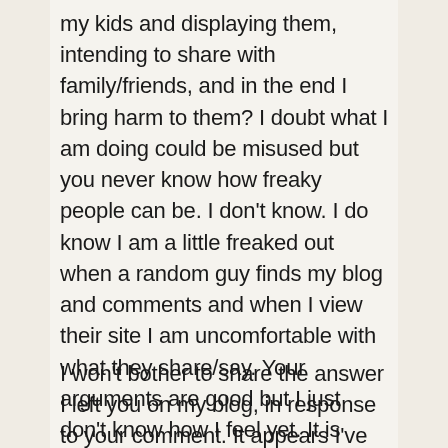my kids and displaying them, intending to share with family/friends, and in the end I bring harm to them? I doubt what I am doing could be misused but you never know how freaky people can be. I don't know. I do know I am a little freaked out when a random guy finds my blog and comments and when I view their site I am uncomfortable with what they share/say. Your arguments are good but I just don't know how I feel yet. It is clear there is much to be said on this topic.
I won't bother to share the answer I left you on my blog, in response to your comment. It appears I've said 'too much'